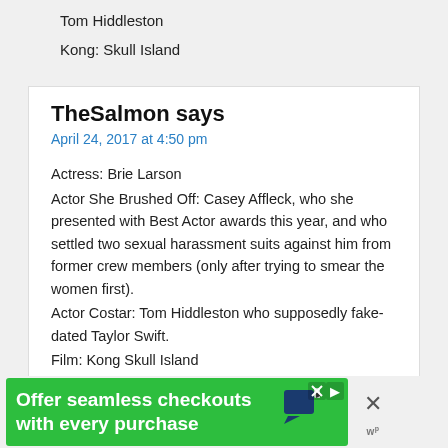Tom Hiddleston
Kong: Skull Island
TheSalmon says
April 24, 2017 at 4:50 pm
Actress: Brie Larson
Actor She Brushed Off: Casey Affleck, who she presented with Best Actor awards this year, and who settled two sexual harassment suits against him from former crew members (only after trying to smear the women first).
Actor Costar: Tom Hiddleston who supposedly fake-dated Taylor Swift.
Film: Kong Skull Island
As to her own personal history, I assume this refers to the fact that her long-time bf (now fiance) is widely believed to be gay.
[Figure (screenshot): Green advertisement banner: 'Offer seamless checkouts with every purchase' with a chat bubble icon and close/skip controls]